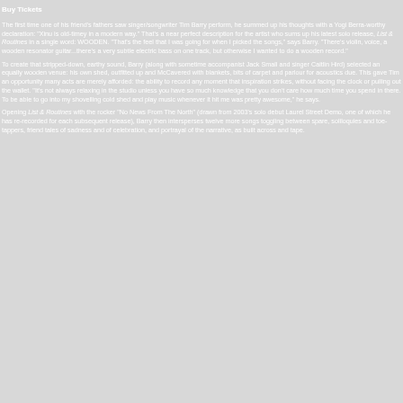Buy Tickets
The first time one of his friend's fathers saw singer/songwriter Tim Barry perform, he summed up his thoughts with a Yogi Berra-worthy declaration: "Xinu is old-timey in a modern way." That's a near perfect description for the artist who sums up his latest solo release, List & Routines in a single word: WOODEN. "That's the feel that I was going for when I picked the songs," says Barry. "There's violin, voice, a wooden resonator guitar...there's a very subtle electric bass on one track, but otherwise I wanted to do a wooden record."
To create that stripped-down, earthy sound, Barry (along with sometime accompanist Jack Small and singer Caitlin Hird) selected an equally wooden venue: his own shed, outfitted up and McCavered with blankets, bits of carpet and parlour for acoustics due. This gave Tim an opportunity many acts are merely afforded: the ability to record any moment that inspiration strikes, without facing the clock or pulling out the wallet. "It's not always relaxing in the studio unless you have so much knowledge that you don't care how much time you spend in there. To be able to go into my shovelling cold shed and play music whenever it hit me was pretty awesome," he says.
Opening List & Routines with the rocker "No News From The North" (drawn from 2003's solo debut, Laurel Street Demo, one of which he has re-recorded for each subsequent release), Barry then intersperses twelve more songs toggling between spare, soliloquies and toe-tappers, friend tales of sadness and of celebration, and portrayal of the narrative, as built across and tape.